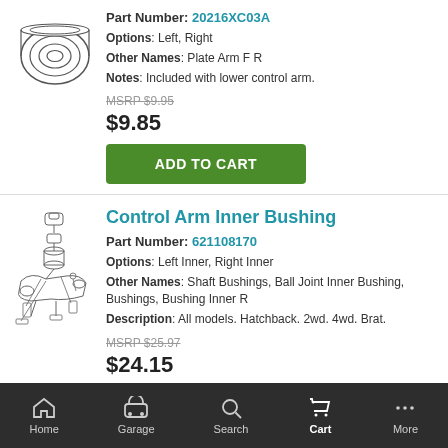[Figure (illustration): Technical illustration of a circular plate/bushing part (top view, washer-like)]
Part Number: 20216XC03A
Options: Left, Right
Other Names: Plate Arm F R
Notes: Included with lower control arm.
MSRP $9.95
$9.85
ADD TO CART
Control Arm Inner Bushing
Part Number: 621108170
[Figure (illustration): Technical exploded diagram of control arm inner bushing assembly with various components]
Options: Left Inner, Right Inner
Other Names: Shaft Bushings, Ball Joint Inner Bushing, Bushings, Bushing Inner R
Description: All models. Hatchback. 2wd. 4wd. Brat.
MSRP $25.97
$24.15
Home   Garage   Search   Cart   More